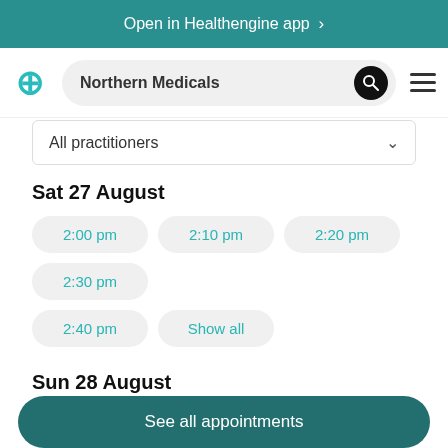Open in Healthengine app >
Northern Medicals
All practitioners
Sat 27 August
2:00 pm
2:10 pm
2:20 pm
2:30 pm
2:40 pm
Show all
Sun 28 August
9:20 am
9:30 am
9:40 am
9:50 am
See all appointments